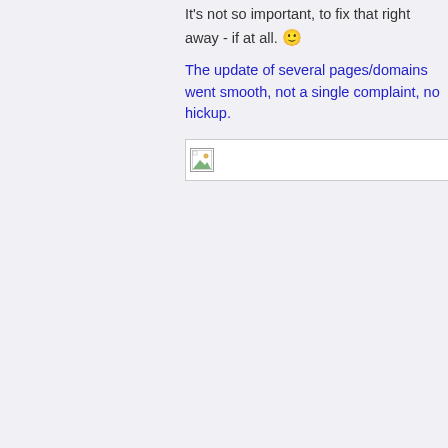It's not so important, to fix that right away - if at all. 🙂
The update of several pages/domains went smooth, not a single complaint, no hickup.
[Figure (other): Broken image placeholder icon with border]